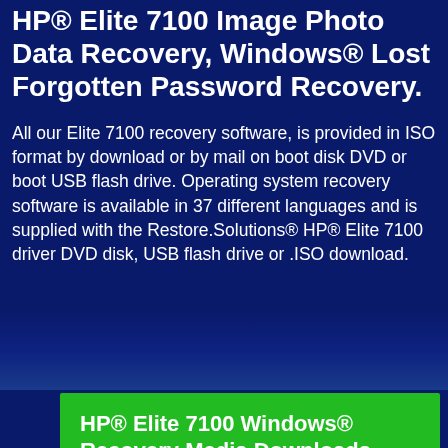HP® Elite 7100 Image Photo Data Recovery, Windows® Lost Forgotten Password Recovery.
All our Elite 7100 recovery software, is provided in ISO format by download or by mail on boot disk DVD or boot USB flash drive. Operating system recovery software is available in 37 different languages and is supplied with the Restore.Solutions® HP® Elite 7100 driver DVD disk, USB flash drive or .ISO download.
HP® Elite 7100 Windows® Recovery Media Downloads with DVD or USB Media
HP® Elite 7100 PC Recovery Boot Disks English (English US)